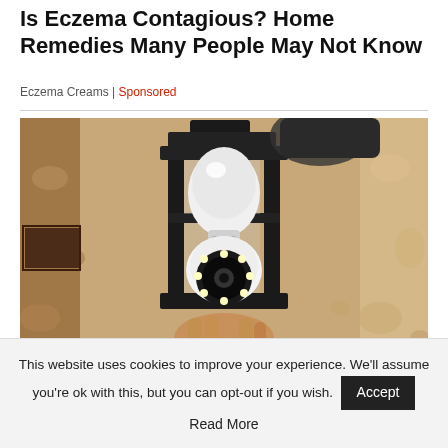Is Eczema Contagious? Home Remedies Many People May Not Know
Eczema Creams | Sponsored
[Figure (photo): A security camera shaped like a light bulb installed inside a black outdoor lantern wall fixture, held by a hand, against a textured stucco wall.]
Homeowners Are Trading in Their Doorbell
This website uses cookies to improve your experience. We'll assume you're ok with this, but you can opt-out if you wish. Accept
Read More